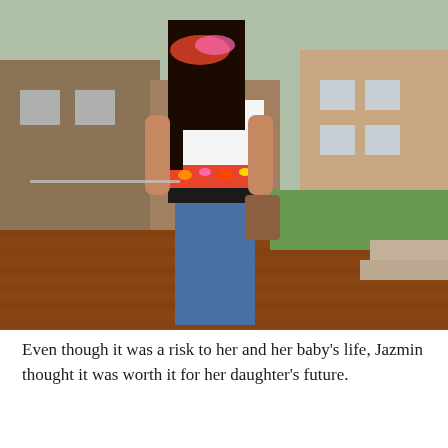[Figure (photo): A woman with long dark hair wearing a white embroidered blouse with colorful floral embroidery, a black waistband, and blue jeans, standing outdoors near a brick wall with a residential street and green lawn in the background.]
Even though it was a risk to her and her baby’s life, Jazmin thought it was worth it for her daughter’s future.
“I didn’t want my daughter going through what I went through and I would have risked everything to get her a better US citizenship and a better...